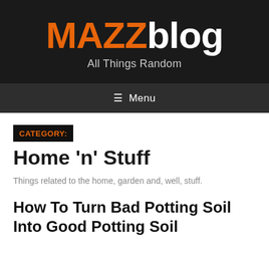MAZZblog — All Things Random
Menu
CATEGORY:
Home 'n' Stuff
Things related to the home, garden and, well, stuff.
How To Turn Bad Potting Soil Into Good Potting Soil